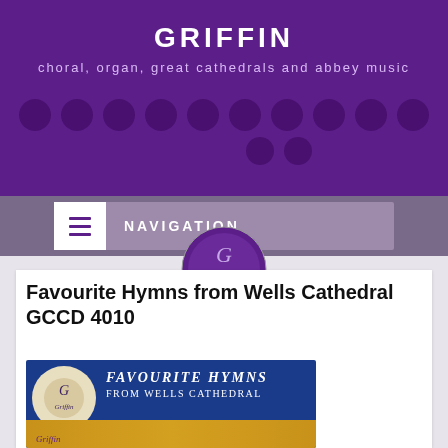GRIFFIN
choral, organ, great cathedrals and abbey music
NAVIGATION
[Figure (logo): Griffin record label circular logo with griffin creature]
Favourite Hymns from Wells Cathedral GCCD 4010
[Figure (photo): Album cover art for Favourite Hymns from Wells Cathedral on Griffin label, showing blue background with white serif text 'Favourite Hymns From Wells Cathedral', griffin logo circle on left, and golden pipe organ at bottom]